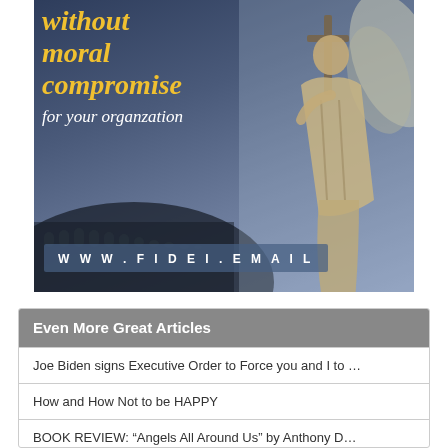[Figure (illustration): Advertisement banner with blue-grey gradient background, large italic yellow text reading 'without moral compromise for your organization', an angel statue holding a cross on the right, Colosseum silhouette at bottom left, and URL 'WWW.FIDEI.EMAIL' in white text on a translucent bar.]
Even More Great Articles
Joe Biden signs Executive Order to Force you and I to ...
How and How Not to be HAPPY
BOOK REVIEW: “Angels All Around Us” by Anthony D...